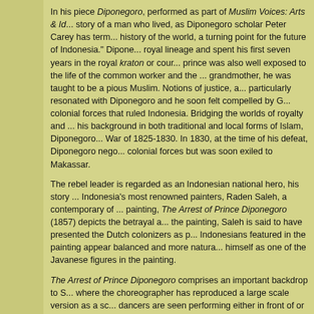In his piece Diponegoro, performed as part of Muslim Voices: Arts & Ideas, the story of a man who lived, as Diponegoro scholar Peter Carey has termed, 'at a turning point in the history of the world, a turning point for the future of Indonesia.' Diponegoro was born of royal lineage and spent his first seven years in the royal kraton or court. However, the young prince was also well exposed to the life of the common worker and the peasant. Raised by his grandmother, he was taught to be a pious Muslim. Notions of justice, and religion particularly resonated with Diponegoro and he soon felt compelled by God to fight against the colonial forces that ruled Indonesia. Bridging the worlds of royalty and the common people, and his background in both traditional and local forms of Islam, Diponegoro led the Java War of 1825-1830. In 1830, at the time of his defeat, Diponegoro negotiated a peace with colonial forces but was soon exiled to Makassar.
The rebel leader is regarded as an Indonesian national hero, his story told by one of Indonesia's most renowned painters, Raden Saleh, a contemporary of Diponegoro. In his painting, The Arrest of Prince Diponegoro (1857) depicts the betrayal and arrest. Unlike previous depictions of the painting, Saleh is said to have presented the Dutch colonizers as passive and aggressive while the Indonesians featured in the painting appear balanced and more natural. Saleh also included himself as one of the Javanese figures in the painting.
The Arrest of Prince Diponegoro comprises an important backdrop to Sardono's Diponegoro, where the choreographer has reproduced a large scale version as a scenic backdrop. Dancers are seen performing either in front of or behind the image, creating a retelling of one of Indonesia's most enduring scenes.
Indonesia is home to the world's largest Muslim population. With Diponegoro, Sardono brings Muslim voices past and present, as well as those from diverse parts of Indonesia, together.
In the video clip to the right, Sardono discusses his influences, what Diponegoro means to him, and the broader importance of Muslim Voices: Arts & Ideas.